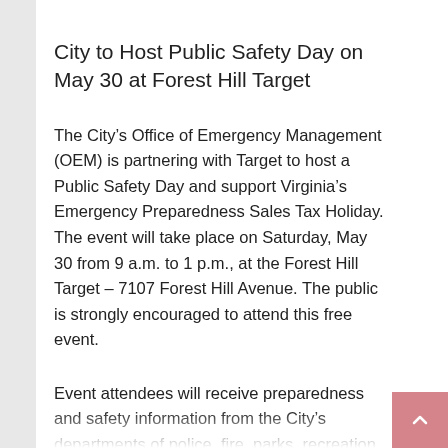City to Host Public Safety Day on May 30 at Forest Hill Target
The City's Office of Emergency Management (OEM) is partnering with Target to host a Public Safety Day and support Virginia's Emergency Preparedness Sales Tax Holiday. The event will take place on Saturday, May 30 from 9 a.m. to 1 p.m., at the Forest Hill Target – 7107 Forest Hill Avenue. The public is strongly encouraged to attend this free event.
Event attendees will receive preparedness and safety information from the City's departments of police, fire, parks, recreation and community facilities, public utilities, emergency communications and the Richmond Sheriff's